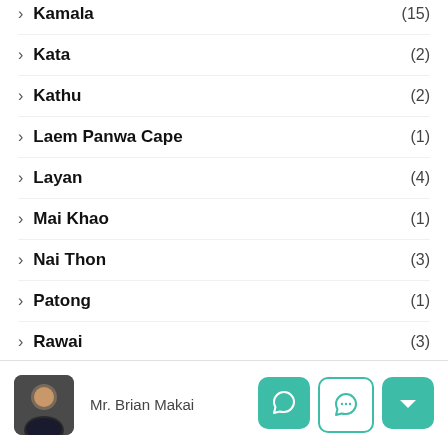Kamala (15)
Kata (2)
Kathu (2)
Laem Panwa Cape (1)
Layan (4)
Mai Khao (1)
Nai Thon (3)
Patong (1)
Rawai (3)
Surin (10)
Mr. Brian Makai